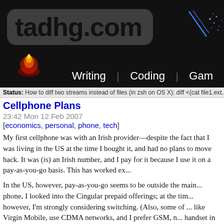[Figure (screenshot): tadhg.com website header banner with logo, candle image, blue lines decoration, and navigation bar with Writing, Coding, Gam... links]
Status: How to diff two streams instead of files (in zsh on OS X): diff <(cat file1.ext...
Cellphone Plans
23:42 Mon 12 Feb 2007
[economics, personal, phone, tech]
My first cellphone was with an Irish provider—despite the fact that I was living in the US at the time I bought it, and had no plans to move back. It was (is) an Irish number, and I pay for it because I use it on a pay-as-you-go basis. This has worked ex...
In the US, however, pay-as-you-go seems to be outside the mainstream. When I got my phone, I looked into the Cingular prepaid offerings; at the time, however, I'm strongly considering switching. (Also, some of the US prepay providers, like Virgin Mobile, use CDMA networks, and I prefer GSM, mainly because I use one handset in the US and Ireland and want to continue doing so.)
The main reason I prefer pre-paid/pay-as-you-go is because "...